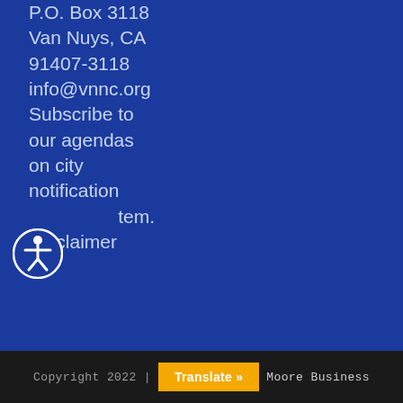P.O. Box 3118
Van Nuys, CA 91407-3118
info@vnnc.org
Subscribe to our agendas on city notification system.
Disclaimer
[Figure (illustration): Accessibility icon: white figure of a person in a circle with a dark blue border]
Copyright 2022 | Translate » | Moore Business